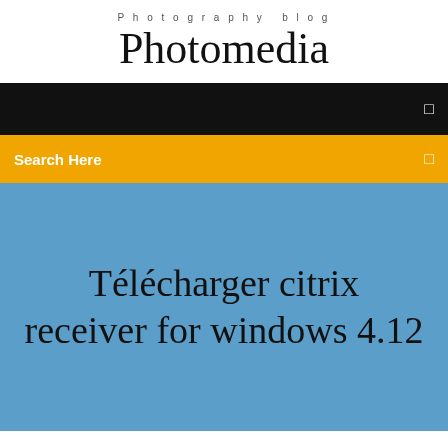Photography blog
Photomedia
[Figure (screenshot): Black navigation bar with a menu icon on the right]
Search Here
Télécharger citrix receiver for windows 4.12